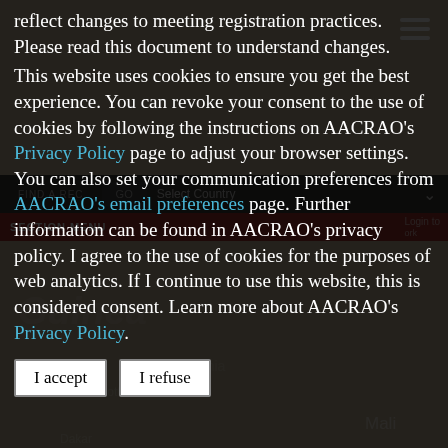reflect changes to meeting registration practices. Please read this document to understand changes. This website uses cookies to ensure you get the best experience. You can revoke your consent to the use of cookies by following the instructions on AACRAO's Privacy Policy page to adjust your browser settings. You can also set your communication preferences from AACRAO's email preferences page. Further information can be found in AACRAO's privacy policy. I agree to the use of cookies for the purposes of web analytics. If I continue to use this website, this is considered consent. Learn more about AACRAO's Privacy Policy.
I accept   I refuse